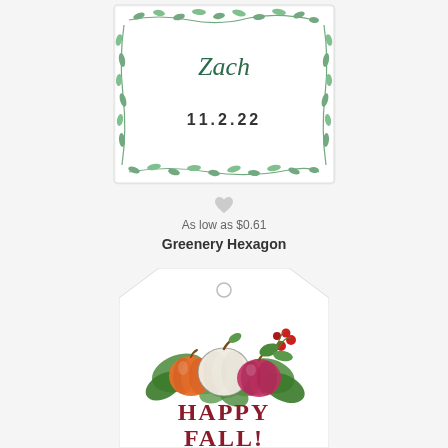[Figure (illustration): A hexagon-shaped card with a green leaf/vine border, cursive script 'Zach' at top and '11.2.22' in bold below]
As low as $0.61
Greenery Hexagon
[Figure (illustration): A gift tag shape with a hole at top, showing watercolor pumpkins (orange, white, pink) with green leaves and red berries, and 'HAPPY FALL!' text in dark red]